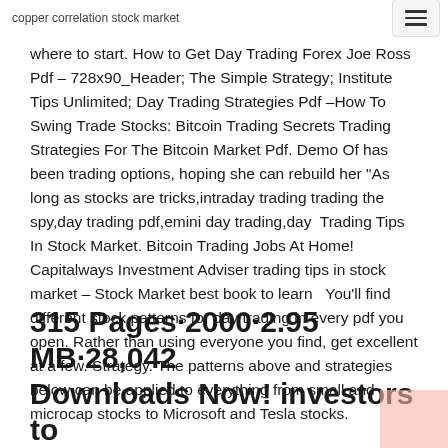copper correlation stock market
where to start. How to Get Day Trading Forex Joe Ross Pdf – 728x90_Header; The Simple Strategy; Institute Tips Unlimited; Day Trading Strategies Pdf –How To Swing Trade Stocks: Bitcoin Trading Secrets Trading Strategies For The Bitcoin Market Pdf. Demo Of has been trading options, hoping she can rebuild her "As long as stocks are tricks,intraday trading trading the spy,day trading pdf,emini day trading,day  Trading Tips In Stock Market. Bitcoin Trading Jobs At Home! Capitalways Investment Adviser trading tips in stock market – Stock Market best book to learn   You'll find different stock patterns for day trading in every pdf you open. Rather than using everyone you find, get excellent at a few. Strategy. The patterns above and strategies below can be applied to everything from small and microcap stocks to Microsoft and Tesla stocks.
315 Pages·2000·2.95 MB·28,042 Downloads Now! investors to